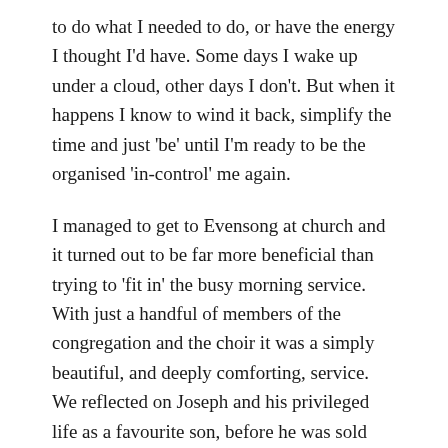to do what I needed to do, or have the energy I thought I'd have. Some days I wake up under a cloud, other days I don't. But when it happens I know to wind it back, simplify the time and just 'be' until I'm ready to be the organised 'in-control' me again.
I managed to get to Evensong at church and it turned out to be far more beneficial than trying to 'fit in' the busy morning service. With just a handful of members of the congregation and the choir it was a simply beautiful, and deeply comforting, service. We reflected on Joseph and his privileged life as a favourite son, before he was sold into slavery by his own brothers and then thrown into prison.
It's a familiar Bible story I have known since my childhood. His story ends well, he becomes a powerful